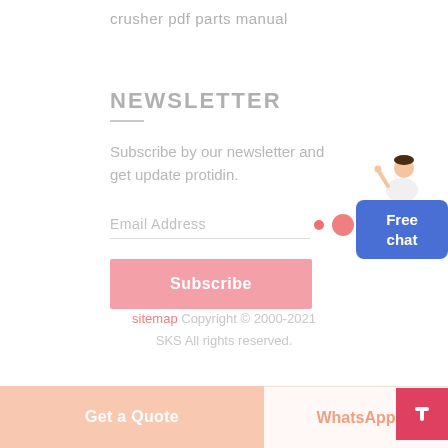crusher pdf parts manual
NEWSLETTER
Subscribe by our newsletter and get update protidin.
Email Address
Subscribe
[Figure (illustration): Free chat widget with agent figure and blue button labeled 'Free chat']
sitemap Copyright © 2000-2021 SKS All rights reserved.
Get a Quote
WhatsApp